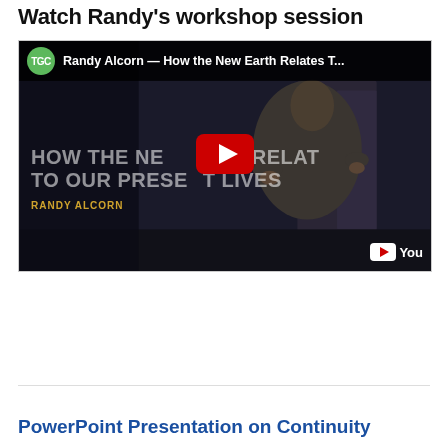Watch Randy's workshop session
[Figure (screenshot): YouTube video thumbnail showing Randy Alcorn presenting, with TGC logo, title 'HOW THE NEW EARTH RELATES TO OUR PRESENT LIVES' by RANDY ALCORN, YouTube play button in center, and YouTube logo at bottom right. Top bar shows: 'Randy Alcorn — How the New Earth Relates T...']
PowerPoint Presentation on Continuity